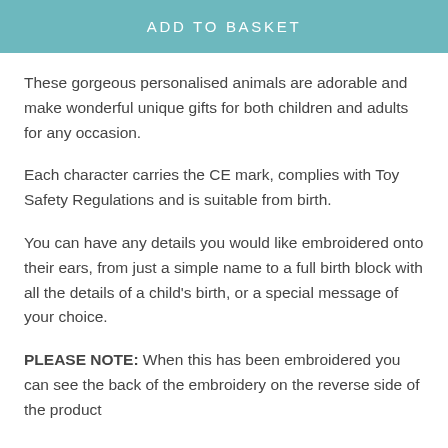ADD TO BASKET
These gorgeous personalised animals are adorable and make wonderful unique gifts for both children and adults for any occasion.
Each character carries the CE mark, complies with Toy Safety Regulations and is suitable from birth.
You can have any details you would like embroidered onto their ears, from just a simple name to a full birth block with all the details of a child’s birth, or a special message of your choice.
PLEASE NOTE: When this has been embroidered you can see the back of the embroidery on the reverse side of the product